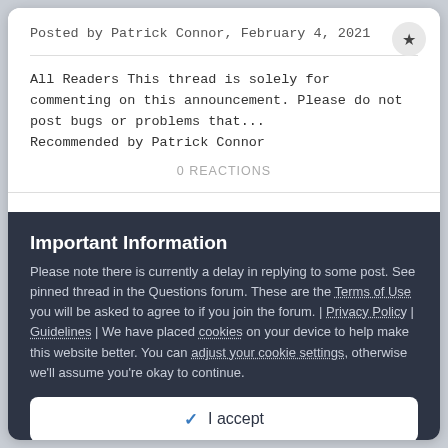Posted by Patrick Connor, February 4, 2021
All Readers This thread is solely for commenting on this announcement. Please do not post bugs or problems that... Recommended by Patrick Connor
0 REACTIONS
Important Information
Please note there is currently a delay in replying to some post. See pinned thread in the Questions forum. These are the Terms of Use you will be asked to agree to if you join the forum. | Privacy Policy | Guidelines | We have placed cookies on your device to help make this website better. You can adjust your cookie settings, otherwise we'll assume you're okay to continue.
✓ I accept